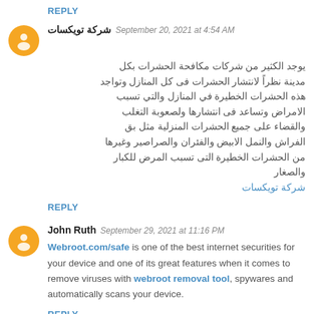REPLY
شركة تويكسات  September 20, 2021 at 4:54 AM
يوجد الكثير من شركات مكافحة الحشرات بكل مدينة نظراً لانتشار الحشرات فى كل المنازل وتواجد هذه الحشرات الخطيرة في المنازل والتي تسبب الامراض وتساعد فى انتشارها ولصعوبة التغلب والقضاء على جميع الحشرات المنزلية مثل بق الفراش والنمل الابيض والفئران والصراصير وغيرها من الحشرات الخطيرة التى تسبب المرض للكبار والصغار
شركة تويكسات
REPLY
John Ruth  September 29, 2021 at 11:16 PM
Webroot.com/safe is one of the best internet securities for your device and one of its great features when it comes to remove viruses with webroot removal tool, spywares and automatically scans your device.
REPLY